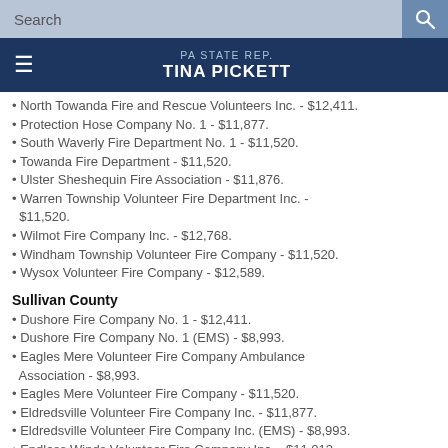Search | PA STATE REP. TINA PICKETT
North Towanda Fire and Rescue Volunteers Inc. - $12,411.
Protection Hose Company No. 1 - $11,877.
South Waverly Fire Department No. 1 - $11,520.
Towanda Fire Department - $11,520.
Ulster Sheshequin Fire Association - $11,876.
Warren Township Volunteer Fire Department Inc. - $11,520.
Wilmot Fire Company Inc. - $12,768.
Windham Township Volunteer Fire Company - $11,520.
Wysox Volunteer Fire Company - $12,589.
Sullivan County
Dushore Fire Company No. 1 - $12,411.
Dushore Fire Company No. 1 (EMS) - $8,993.
Eagles Mere Volunteer Fire Company Ambulance Association - $8,993.
Eagles Mere Volunteer Fire Company - $11,520.
Eldredsville Volunteer Fire Company Inc. - $11,877.
Eldredsville Volunteer Fire Company Inc. (EMS) - $8,993.
Endless Winds Volunteer Fire Company Inc. - $11,012.
Forksville Volunteer Fire Company - $11,520.
Hillsgrove Volunteer Fire Company - $11,520.